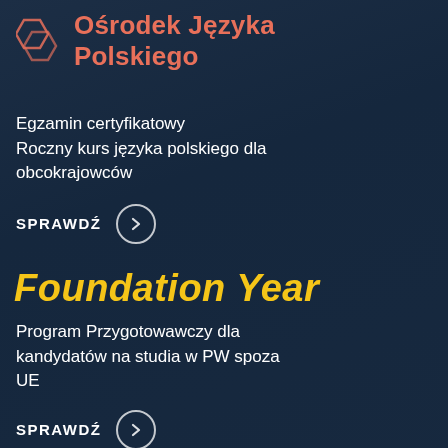[Figure (illustration): Dark navy blue background with partially visible people in background, serving as page background]
Ośrodek Języka Polskiego
Egzamin certyfikatowy
Roczny kurs języka polskiego dla obcokrajowców
SPRAWDŹ
Foundation Year
Program Przygotowawczy dla kandydatów na studia w PW spoza UE
SPRAWDŹ